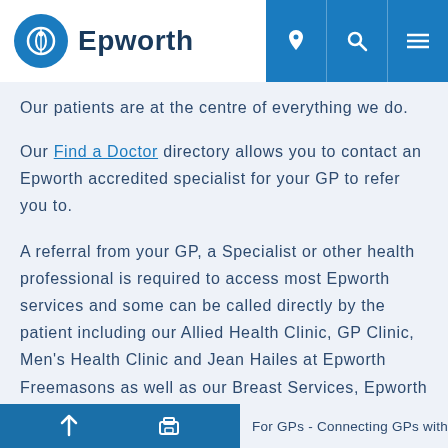Epworth
Our patients are at the centre of everything we do.
Our Find a Doctor directory allows you to contact an Epworth accredited specialist for your GP to refer you to.
A referral from your GP, a Specialist or other health professional is required to access most Epworth services and some can be called directly by the patient including our Allied Health Clinic, GP Clinic, Men's Health Clinic and Jean Hailes at Epworth Freemasons as well as our Breast Services, Epworth Sports and Exercise Medicine Group and Epworth HealthCheck.
For GPs - Connecting GPs with Epworth